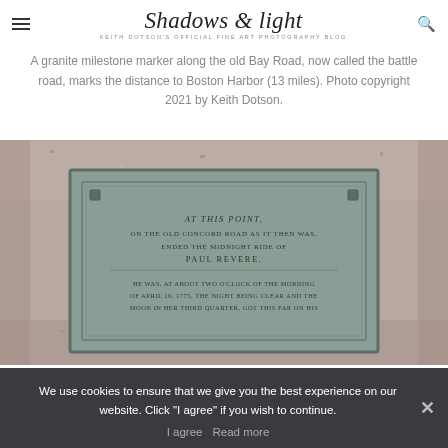Shadows & light — KEITH DOTSON'S OFFICIAL FINE ART PHOTOGRAPHY BLOG
A granite milestone marker along the old Bay Road, now called the battle road, marks the distance to Boston Harbor (13 miles). Photo copyright 2021 by Keith Dotson.
[Figure (photo): Close-up photograph of a bronze plaque on a granite milestone marker. The plaque text reads about Paul Revere's midnight ride ending at this point on the Old Concord Road. The plaque has decorative border and rivets at top corners.]
We use cookies to ensure that we give you the best experience on our website. Click "I agree" if you wish to continue.
I agree   Read more